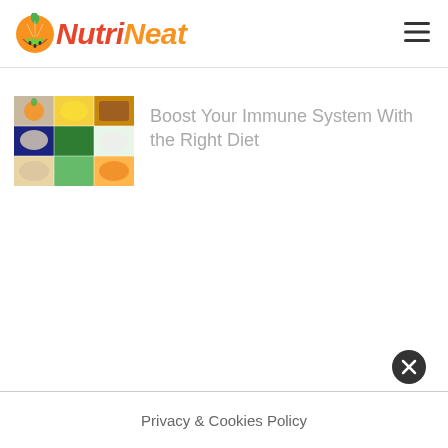NutriNeat
[Figure (photo): Collage of various healthy foods including fruits, vegetables, spices, grains, and other nutritious items arranged in a grid]
Boost Your Immune System With the Right Diet
Privacy & Cookies Policy